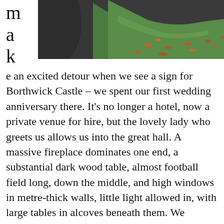[Figure (photo): Top portion of a landscape photo showing a grassy green hillside with fallen autumn leaves and a dark path or road surface at the bottom left.]
make an excited detour when we see a sign for Borthwick Castle – we spent our first wedding anniversary there. It's no longer a hotel, now a private venue for hire, but the lovely lady who greets us allows us into the great hall. A massive fireplace dominates one end, a substantial dark wood table, almost football field long, down the middle, and high windows in metre-thick walls, little light allowed in, with large tables in alcoves beneath them. We reminisce with an older gentleman who sits at one, remarking how the staff (wearing Braveheart style dress, clearly aimed at the overseas market) led us on a tour of the castle, telling stories of torture and battles. Our room was in one of the towers, a door opening